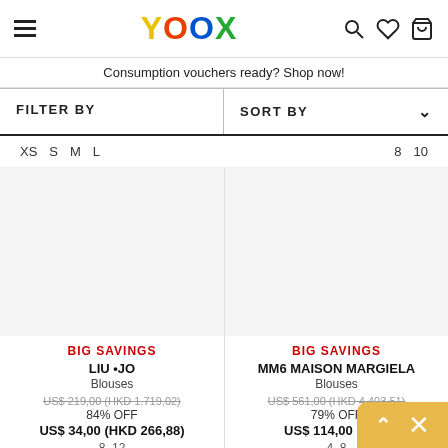YOOX — navigation header with hamburger menu, logo, search, wishlist, cart icons
Consumption vouchers ready? Shop now!
FILTER BY   SORT BY
XS  S  M  L      8  10
BIG SAVINGS
LIU •JO
Blouses
US$ 219,00 (HKD 1.719,02)
84% OFF
US$ 34,00 (HKD 266,88)
8  12
BIG SAVINGS
MM6 MAISON MARGIELA
Blouses
US$ 561,00 (HKD 4.403,51)
79% OFF
US$ 114,00 (HKD
4  8